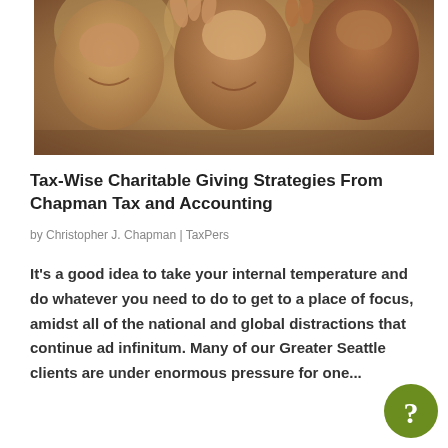[Figure (photo): Group of smiling children looking at the camera from above]
Tax-Wise Charitable Giving Strategies From Chapman Tax and Accounting
by Christopher J. Chapman | TaxPers
It's a good idea to take your internal temperature and do whatever you need to do to get to a place of focus, amidst all of the national and global distractions that continue ad infinitum. Many of our Greater Seattle clients are under enormous pressure for one...